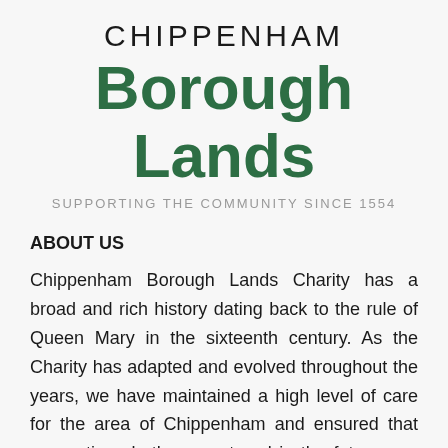CHIPPENHAM Borough Lands SUPPORTING THE COMMUNITY SINCE 1554
ABOUT US
Chippenham Borough Lands Charity has a broad and rich history dating back to the rule of Queen Mary in the sixteenth century. As the Charity has adapted and evolved throughout the years, we have maintained a high level of care for the area of Chippenham and ensured that generations both present and in the future, are given the opportunities to grow and succeed